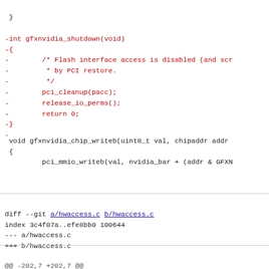}
-int gfxnvidia_shutdown(void)
-{
-        /* Flash interface access is disabled (and scr
-         * by PCI restore.
-         */
-        pci_cleanup(pacc);
-        release_io_perms();
-        return 0;
-}
-
void gfxnvidia_chip_writeb(uint8_t val, chipaddr addr
 {
         pci_mmio_writeb(val, nvidia_bar + (addr & GFXN
diff --git a/hwaccess.c b/hwaccess.c
index 3c4f07a..efe8bb0 100644
--- a/hwaccess.c
+++ b/hwaccess.c
@@ -202,7 +202,7 @@